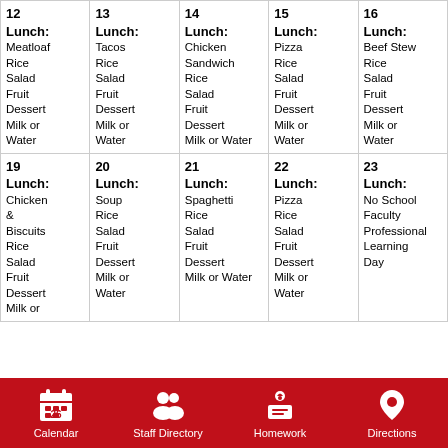| 12 | 13 | 14 | 15 | 16 |
| --- | --- | --- | --- | --- |
| Lunch: Meatloaf Rice Salad Fruit Dessert Milk or Water | Lunch: Tacos Rice Salad Fruit Dessert Milk or Water | Lunch: Chicken Sandwich Rice Salad Fruit Dessert Milk or Water | Lunch: Pizza Rice Salad Fruit Dessert Milk or Water | Lunch: Beef Stew Rice Salad Fruit Dessert Milk or Water |
| 19 Lunch: Chicken & Biscuits Rice Salad Fruit Dessert Milk or | 20 Lunch: Soup Rice Salad Fruit Dessert Milk or Water | 21 Lunch: Spaghetti Rice Salad Fruit Dessert Milk or Water | 22 Lunch: Pizza Rice Salad Fruit Dessert Milk or Water | 23 Lunch: No School Faculty Professional Learning Day |
Calendar  Staff Directory  Homework  Directions